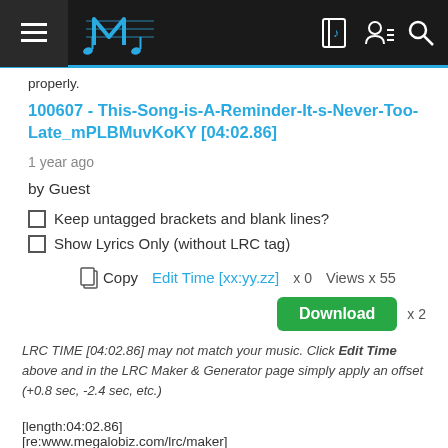Music LRC site navigation bar with hamburger menu, logo, notebook icon, user icon, search icon
properly.
100607 - This-Song-is-A-Reminder-It-s-Never-Too-Late_mPLBMuvKoKY [04:02.86]    1 year ago
by Guest
Keep untagged brackets and blank lines?
Show Lyrics Only (without LRC tag)
Copy   Edit Time [xx:yy.zz]  x 0    Views x 55
Download  x 2
LRC TIME [04:02.86] may not match your music. Click Edit Time above and in the LRC Maker & Generator page simply apply an offset (+0.8 sec, -2.4 sec, etc.)
[length:04:02.86]
[re:www.megalobiz.com/lrc/maker]